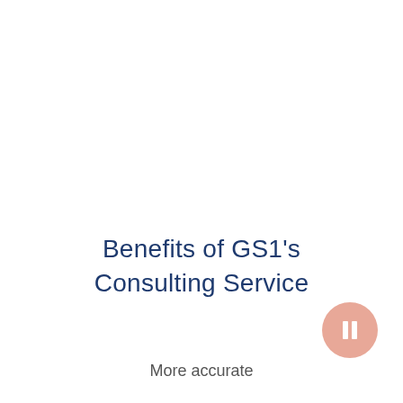Benefits of GS1's Consulting Service
[Figure (infographic): A salmon/peach colored circle button with a white rectangle/pause icon in the center, positioned bottom-right of the title area]
More accurate